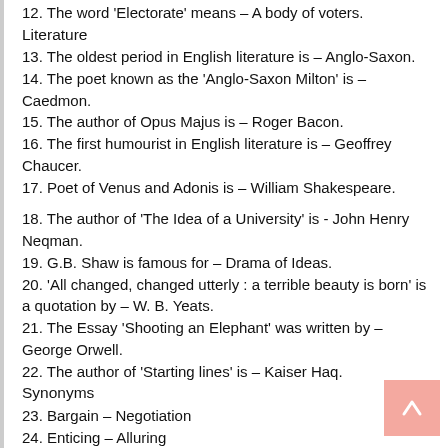12. The word 'Electorate' means – A body of voters.
Literature
13. The oldest period in English literature is – Anglo-Saxon.
14. The poet known as the 'Anglo-Saxon Milton' is – Caedmon.
15. The author of Opus Majus is – Roger Bacon.
16. The first humourist in English literature is – Geoffrey Chaucer.
17. Poet of Venus and Adonis is – William Shakespeare.
18. The author of 'The Idea of a University' is - John Henry Neqman.
19. G.B. Shaw is famous for – Drama of Ideas.
20. 'All changed, changed utterly : a terrible beauty is born' is a quotation by – W. B. Yeats.
21. The Essay 'Shooting an Elephant' was written by – George Orwell.
22. The author of 'Starting lines' is – Kaiser Haq.
Synonyms
23. Bargain – Negotiation
24. Enticing – Alluring
25. Bereavement – Loss
26. Congregation – Association